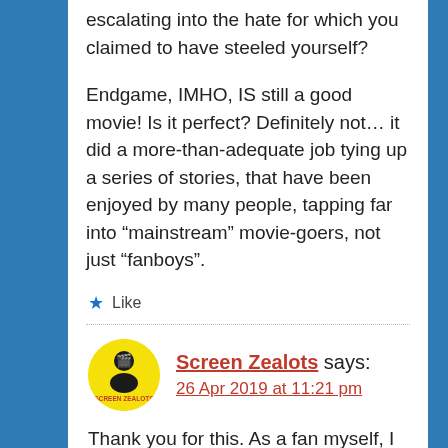escalating into the hate for which you claimed to have steeled yourself?
Endgame, IMHO, IS still a good movie! Is it perfect? Definitely not… it did a more-than-adequate job tying up a series of stories, that have been enjoyed by many people, tapping far into “mainstream” movie-goers, not just “fanboys”.
★ Like
Screen Zealots says:
26 Apr 2019 at 11:21 pm
Thank you for this. As a fan myself, I never